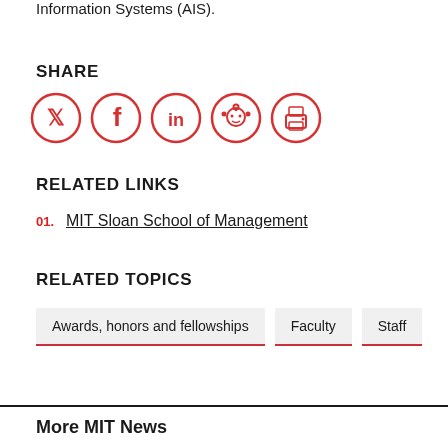Information Systems (AIS).
SHARE
[Figure (infographic): Social sharing icons in red circles: Twitter, Facebook, LinkedIn, Reddit, Print]
RELATED LINKS
01. MIT Sloan School of Management
RELATED TOPICS
Awards, honors and fellowships
Faculty
Staff
More MIT News